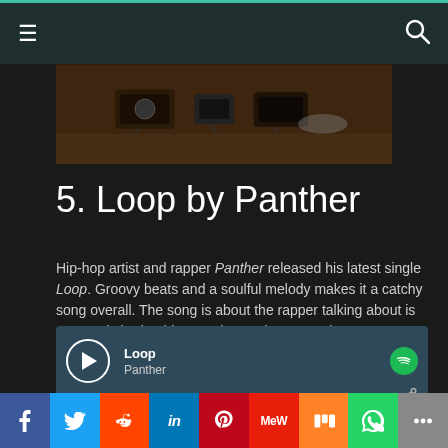Navigation bar with menu and search icons
[Figure (photo): Dark overhead photo of music equipment/pedals on a wooden floor]
5. Loop by Panther
Hip-hop artist and rapper Panther released his latest single Loop. Groovy beats and a soulful melody makes it a catchy song overall. The song is about the rapper talking about is past and sharing his experiences in a smooth manner.
[Figure (screenshot): Spotify-style music player widget showing track 'Loop' by Panther with play button and progress bar]
Social sharing buttons: Facebook, Twitter, Reddit, LinkedIn, Pinterest, MeWe, Mix, WhatsApp, More